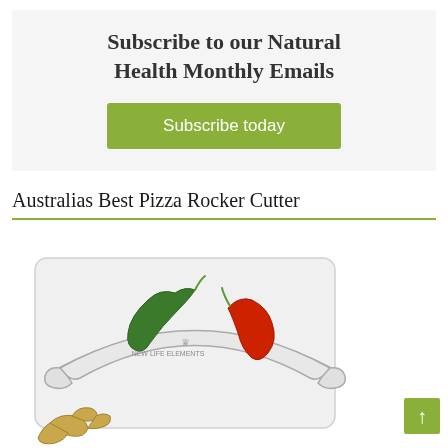Subscribe to our Natural Health Monthly Emails
Subscribe today
Australias Best Pizza Rocker Cutter
[Figure (photo): Pizza rocker cutter product photo showing a stainless steel rocking knife with 'New Life Elements' branding, accompanied by a green chili pepper and a red chili pepper on the blade, with ginger in the lower left corner.]